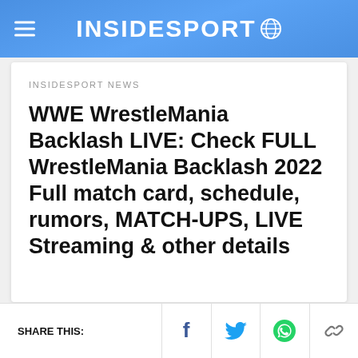INSIDESPORT
INSIDESPORT NEWS
WWE WrestleMania Backlash LIVE: Check FULL WrestleMania Backlash 2022 Full match card, schedule, rumors, MATCH-UPS, LIVE Streaming & other details
SHARE THIS: